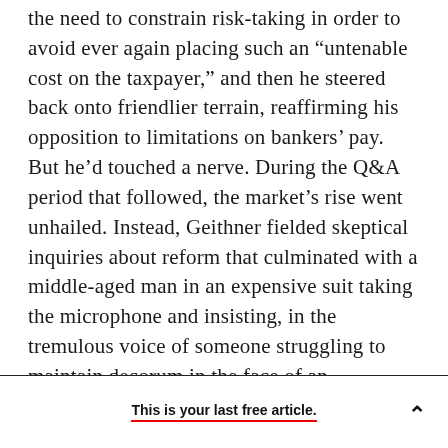the need to constrain risk-taking in order to avoid ever again placing such an “untenable cost on the taxpayer,” and then he steered back onto friendlier terrain, reaffirming his opposition to limitations on bankers’ pay. But he’d touched a nerve. During the Q&A period that followed, the market’s rise went unhailed. Instead, Geithner fielded skeptical inquiries about reform that culminated with a middle-aged man in an expensive suit taking the microphone and insisting, in the tremulous voice of someone struggling to maintain decorum in the face of an outrageous affront, that the government reconsider its plan to regulate hedge funds.
This is your last free article.